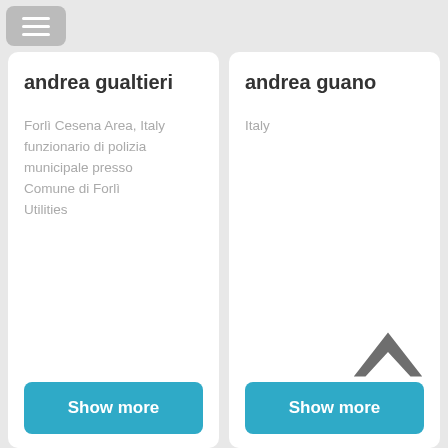[Figure (screenshot): Menu hamburger button in top-left corner]
andrea gualtieri
Forlì Cesena Area, Italy
funzionario di polizia municipale presso Comune di Forlì
Utilities
Show more
andrea guano
Italy
Show more